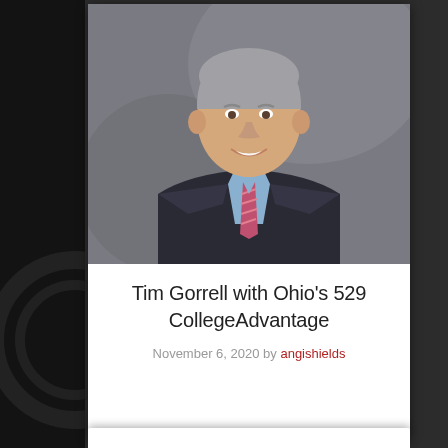[Figure (photo): Professional headshot of Tim Gorrell, an older man with gray hair wearing a dark suit, light blue dress shirt, and pink/red striped tie, photographed against a gray blurred background.]
Tim Gorrell with Ohio's 529 CollegeAdvantage
November 6, 2020 by angishields